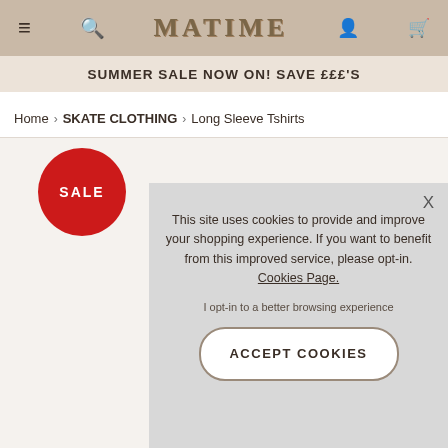MATIME - navigation header with menu, search, user, and bag icons
SUMMER SALE NOW ON! SAVE £££'S
Home › SKATE CLOTHING › Long Sleeve Tshirts
[Figure (other): Red circular SALE badge]
This site uses cookies to provide and improve your shopping experience. If you want to benefit from this improved service, please opt-in. Cookies Page.
I opt-in to a better browsing experience
ACCEPT COOKIES